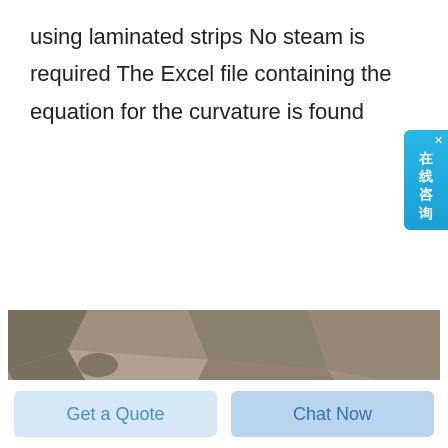using laminated strips No steam is required The Excel file containing the equation for the curvature is found
[Figure (photo): Workers wearing hard hats inside a tunnel or underground excavation, with a rocky wall visible in the background. Multiple workers visible at the bottom of the image.]
Get a Quote
Chat Now